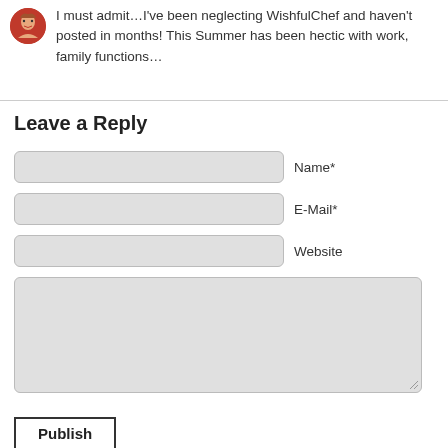I must admit…I've been neglecting WishfulChef and haven't posted in months! This Summer has been hectic with work, family functions…
Leave a Reply
Name*
E-Mail*
Website
Publish